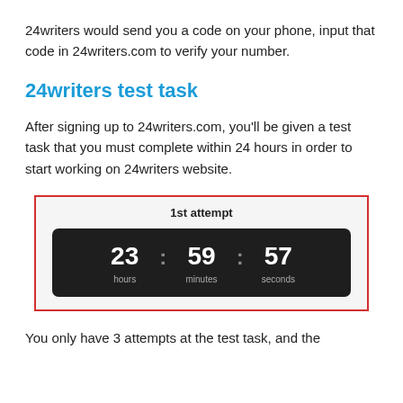24writers would send you a code on your phone, input that code in 24writers.com to verify your number.
24writers test task
After signing up to 24writers.com, you'll be given a test task that you must complete within 24 hours in order to start working on 24writers website.
[Figure (screenshot): Screenshot of a countdown timer showing '1st attempt' with 23 hours, 59 minutes, 57 seconds displayed on a dark background, framed with a red border.]
You only have 3 attempts at the test task, and the